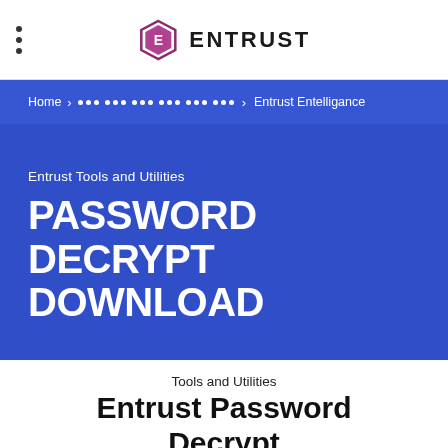ENTRUST
Home > ••• ••• ••• ••• ••• ••• > Entrust Entelligance
Entrust Tools and Utilities
PASSWORD DECRYPT DOWNLOAD
Tools and Utilities
Entrust Password Decrypt